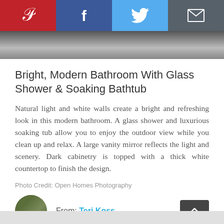[Figure (infographic): Social sharing bar with Pinterest (red), Facebook (dark blue), Twitter (light blue), and Email (dark gray) buttons with white icons]
[Figure (photo): Partial view of a bathroom photo strip at the top of the page]
Bright, Modern Bathroom With Glass Shower & Soaking Bathtub
Natural light and white walls create a bright and refreshing look in this modern bathroom. A glass shower and luxurious soaking tub allow you to enjoy the outdoor view while you clean up and relax. A large vanity mirror reflects the light and scenery. Dark cabinetry is topped with a thick white countertop to finish the design.
Photo Credit: Open Homes Photography
From: Teri Koss